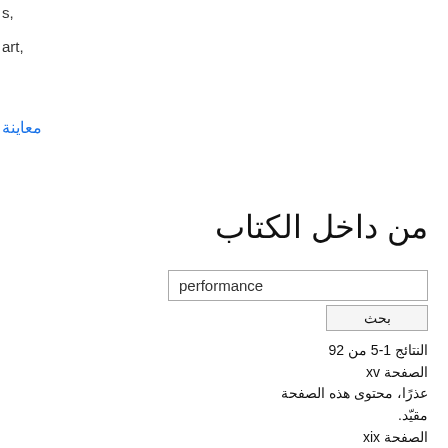s,
art,
معاينة
من داخل الكتاب
performance
بحث
النتائج 1-5 من 92
الصفحة xv
عذرًا، محتوى هذه الصفحة مقيّد.
الصفحة xix
عذرًا، محتوى هذه الصفحة مقيّد.
الصفحة 42
عذرًا، محتوى هذه الصفحة مقيّد.